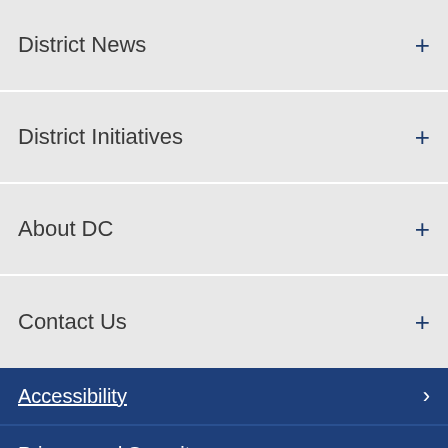District News +
District Initiatives +
About DC +
Contact Us +
Accessibility >
Privacy and Security >
Terms and Conditions >
About DC.Gov >